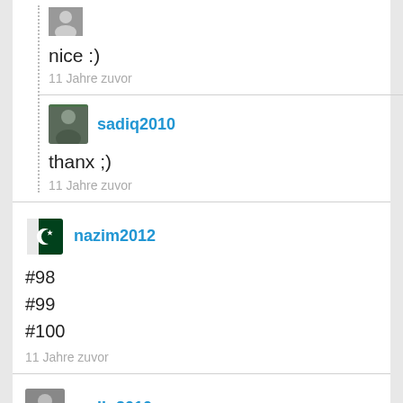[Figure (photo): User avatar - person silhouette, small thumbnail at top]
nice :)
11 Jahre zuvor
[Figure (photo): User avatar for sadiq2010 - person photo]
sadiq2010
thanx ;)
11 Jahre zuvor
[Figure (photo): User avatar for nazim2012 - Pakistan flag icon]
nazim2012
#98
#99
#100
11 Jahre zuvor
[Figure (photo): User avatar for sadiq2010 - person photo, partial view at bottom]
sadiq2010